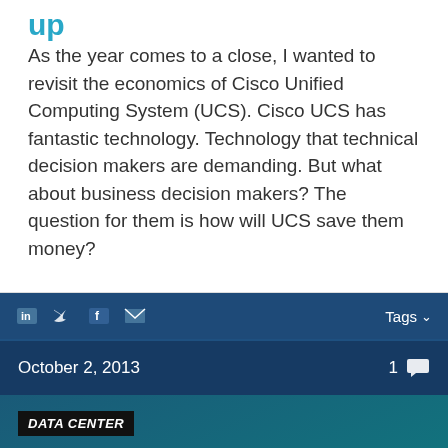up
As the year comes to a close, I wanted to revisit the economics of Cisco Unified Computing System (UCS). Cisco UCS has fantastic technology. Technology that technical decision makers are demanding. But what about business decision makers? The question for them is how will UCS save them money?
Tags ∨
October 2, 2013   1 [comment icon]
[Figure (logo): Cisco logo on teal/dark blue gradient background with DATA CENTER badge and Cisco signal bars icon above the word cisco]